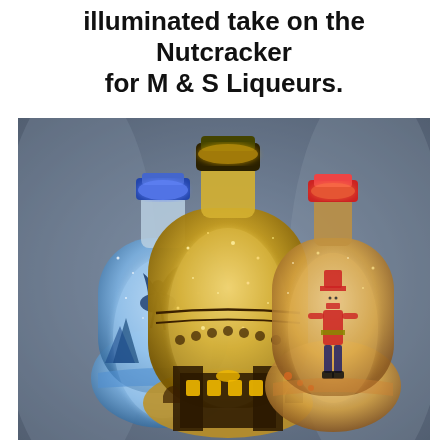illuminated take on the Nutcracker for M & S Liqueurs.
[Figure (photo): Three illuminated glass liqueur bottles with Nutcracker-themed designs. Left bottle glows blue-white with a ballet dancer silhouette scene. Center bottle glows gold/amber with gold glitter and ornate Nutcracker theater/palace designs. Right bottle glows warm amber with a Nutcracker soldier figure. Each bottle has a decorative stopper — blue, gold, and red respectively.]